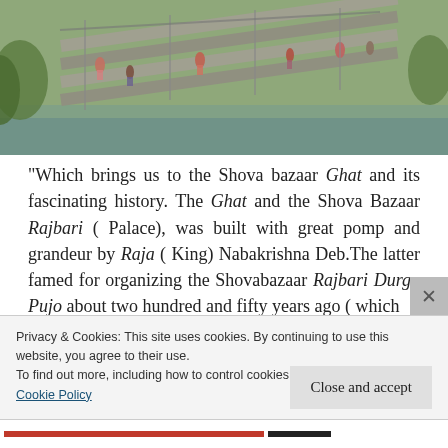[Figure (photo): People on river ghat steps — stone steps leading to a waterway, with people bathing and gathered along the steps and green vegetation on the banks.]
“Which brings us to the Shova bazaar Ghat and its fascinating history. The Ghat and the Shova Bazaar Rajbari ( Palace), was built with great pomp and grandeur by Raja ( King) Nabakrishna Deb.The latter famed for organizing the Shovabazaar Rajbari Durga Pujo about two hundred and fifty years ago ( which
Privacy & Cookies: This site uses cookies. By continuing to use this website, you agree to their use.
To find out more, including how to control cookies, see here:
Cookie Policy
Close and accept